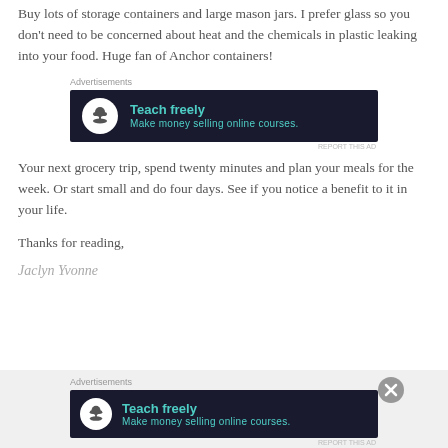Buy lots of storage containers and large mason jars. I prefer glass so you don't need to be concerned about heat and the chemicals in plastic leaking into your food. Huge fan of Anchor containers!
[Figure (screenshot): Advertisement banner with dark background showing 'Teach freely - Make money selling online courses.' with a white circle icon containing a bonsai tree symbol, teal colored text on dark navy background. Labeled 'Advertisements' above.]
Your next grocery trip, spend twenty minutes and plan your meals for the week. Or start small and do four days. See if you notice a benefit to it in your life.
Thanks for reading,
Jaclyn Yvonne
[Figure (screenshot): Advertisement banner with dark background showing 'Teach freely - Make money selling online courses.' with a white circle icon containing a bonsai tree symbol, teal colored text on dark navy background. Labeled 'Advertisements' above. Has close button (X) overlay.]